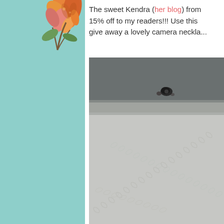[Figure (illustration): Left decorative mint/teal background panel with floral botanical illustration (orange and pink flowers/leaves) in the upper portion]
The sweet Kendra (her blog) from 15% off to my readers!!! Use this give away a lovely camera neckla...
[Figure (photo): Close-up photograph of silver chain necklace links on a light grey fabric surface, with a dark small camera pendant visible at top]